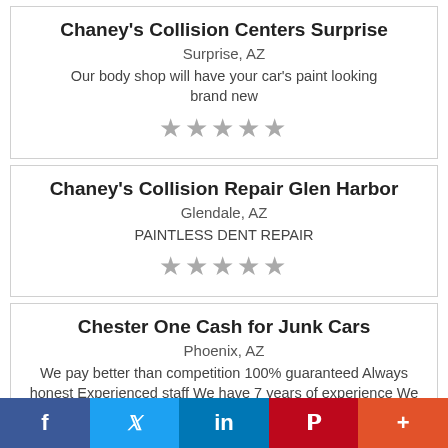Chaney's Collision Centers Surprise
Surprise, AZ
Our body shop will have your car's paint looking brand new
★★★★★
Chaney's Collision Repair Glen Harbor
Glendale, AZ
PAINTLESS DENT REPAIR
★★★★★
Chester One Cash for Junk Cars
Phoenix, AZ
We pay better than competition 100% guaranteed Always honest Experienced staff We have 7 years of experience We answer calls: English and Spanish
f  𝕏  in  P  +